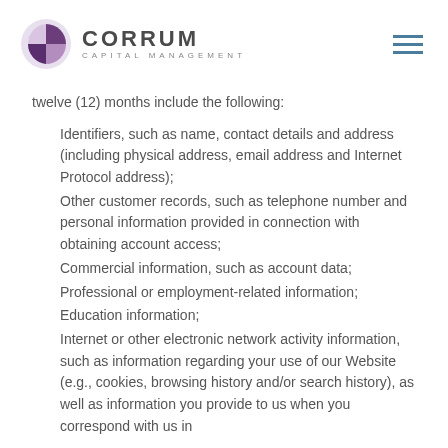Corrum Capital Management
twelve (12) months include the following:
Identifiers, such as name, contact details and address (including physical address, email address and Internet Protocol address);
Other customer records, such as telephone number and personal information provided in connection with obtaining account access;
Commercial information, such as account data;
Professional or employment-related information;
Education information;
Internet or other electronic network activity information, such as information regarding your use of our Website (e.g., cookies, browsing history and/or search history), as well as information you provide to us when you correspond with us in